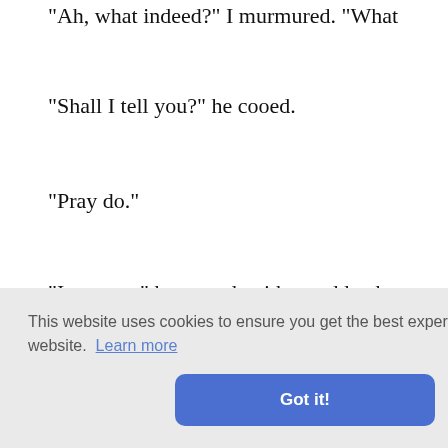"Ah, what indeed?" I murmured. "What
"Shall I tell you?" he cooed.
"Pray do."
"It proves," he roared, with a sudden b London—a vile, crawling journalist, w composition!"
He had sprung to his feet with a mad ra time for amazement at the discovery th my shoulder—a stunted Hercules whose
forward, ng to yo with you That yo and try to
leg up, and this man shall have a dress
This website uses cookies to ensure you get the best experience on our website. Learn more
Got it!